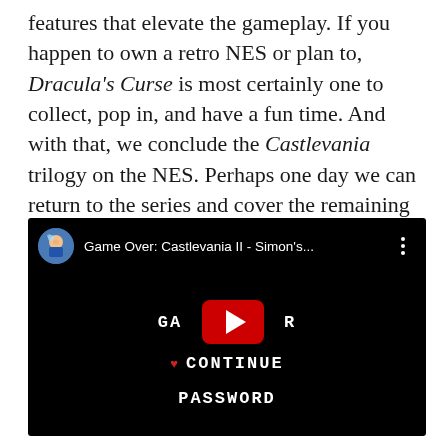features that elevate the gameplay. If you happen to own a retro NES or plan to, Dracula's Curse is most certainly one to collect, pop in, and have a fun time. And with that, we conclude the Castlevania trilogy on the NES. Perhaps one day we can return to the series and cover the remaining games. Thank you for taking a ride on the Train and see you next week as we continue our Octerror marathon! Mwahahaha!
[Figure (screenshot): Embedded YouTube video thumbnail showing 'Game Over: Castlevania II - Simon's...' with a avatar icon on the left, three-dot menu on the right, and a game over screen with YouTube play button overlaid, showing text GA...R, CONTINUE, PASSWORD on a black background.]